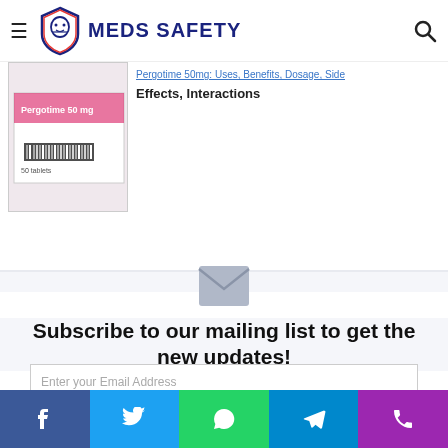MEDS SAFETY
[Figure (photo): Photo of Pergotime 50mg medication box packaging]
Pergotime 50mg: Uses, Benefits, Dosage, Side Effects, Interactions
[Figure (illustration): Gray envelope icon for newsletter subscription]
Subscribe to our mailing list to get the new updates!
Enter your Email Address
Subscribe
Facebook | Twitter | WhatsApp | Telegram | Phone